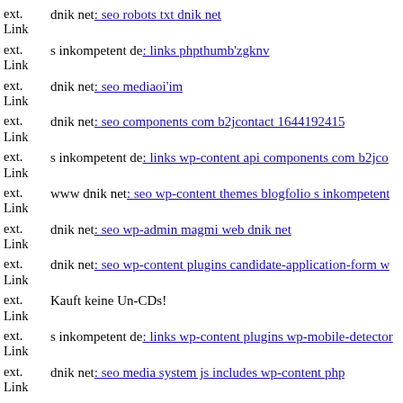ext. Link dnik net: seo robots txt dnik net
ext. Link s inkompetent de: links phpthumb'zgknv
ext. Link dnik net: seo mediaoi'im
ext. Link dnik net: seo components com b2jcontact 1644192415
ext. Link s inkompetent de: links wp-content api components com b2jco...
ext. Link www dnik net: seo wp-content themes blogfolio s inkompetent...
ext. Link dnik net: seo wp-admin magmi web dnik net
ext. Link dnik net: seo wp-content plugins candidate-application-form w...
ext. Link Kauft keine Un-CDs!
ext. Link s inkompetent de: links wp-content plugins wp-mobile-detector...
ext. Link dnik net: seo media system js includes wp-content php
ext.